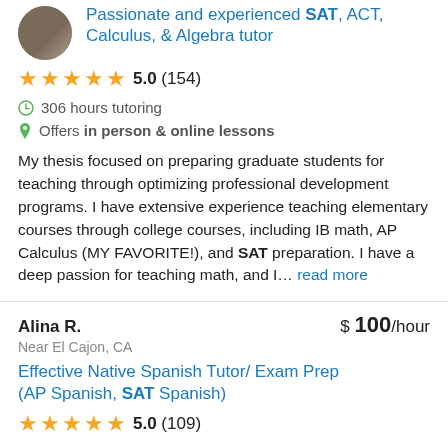Passionate and experienced SAT, ACT, Calculus, & Algebra tutor
5.0 (154)
306 hours tutoring
Offers in person & online lessons
My thesis focused on preparing graduate students for teaching through optimizing professional development programs. I have extensive experience teaching elementary courses through college courses, including IB math, AP Calculus (MY FAVORITE!), and SAT preparation. I have a deep passion for teaching math, and I… read more
Alina R.   $ 100/hour
Near El Cajon, CA
Effective Native Spanish Tutor/ Exam Prep (AP Spanish, SAT Spanish)
5.0 (109)